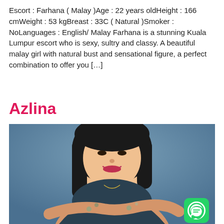Escort : Farhana ( Malay )Age : 22 years oldHeight : 166 cmWeight : 53 kgBreast : 33C ( Natural )Smoker : NoLanguages : English/ Malay Farhana is a stunning Kuala Lumpur escort who is sexy, sultry and classy. A beautiful malay girl with natural bust and sensational figure, a perfect combination to offer you […]
Azlina
[Figure (photo): Photo of a young woman with short black bob hair, smiling, wearing a dark floral spaghetti-strap top and a delicate necklace, arms crossed, against a blue-grey background. A WhatsApp icon appears in the bottom-right corner.]